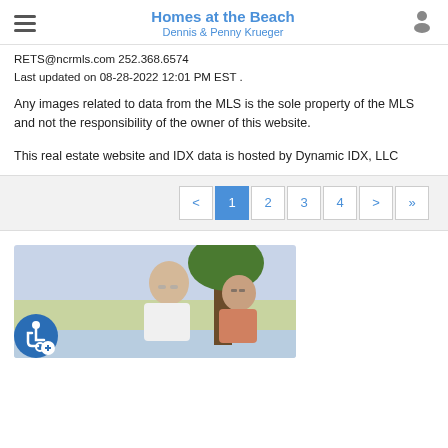Homes at the Beach
Dennis & Penny Krueger
RETS@ncrmls.com 252.368.6574
Last updated on 08-28-2022 12:01 PM EST .
Any images related to data from the MLS is the sole property of the MLS and not the responsibility of the owner of this website.
This real estate website and IDX data is hosted by Dynamic IDX, LLC
[Figure (other): Pagination controls showing pages: < 1 2 3 4 > »]
[Figure (photo): Photo of Dennis and Penny Krueger, an older couple standing outdoors near a tree with a waterway in the background. An accessibility icon (wheelchair) with a plus sign is in the lower left.]